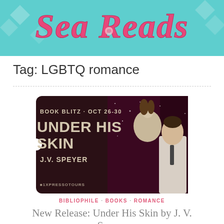[Figure (logo): Sea Reads blog banner with teal/turquoise background and pink cursive script reading 'Sea Reads' with mermaid/floral decorative elements]
Tag: LGBTQ romance
[Figure (illustration): Book blitz promotional banner on dark maroon background shaped like a ticket. Text reads: 'BOOK BLITZ · OCT 26-30', 'UNDER HIS SKIN', 'J.V. SPEYER', '1XPRESSOTOURS'. Two male figures visible on the right side against a starry/galaxy background.]
BIBLIOPHILE · BOOKS · ROMANCE
New Release: Under His Skin by J. V. Speyer